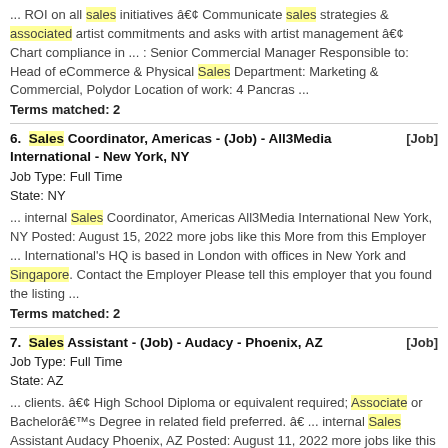... ROI on all sales initiatives • Communicate sales strategies & associated artist commitments and asks with artist management • Chart compliance in ... : Senior Commercial Manager Responsible to: Head of eCommerce & Physical Sales Department: Marketing & Commercial, Polydor Location of work: 4 Pancras ...
Terms matched: 2
6. Sales Coordinator, Americas - (Job) - All3Media International - New York, NY [Job]
Job Type: Full Time
State: NY
... internal Sales Coordinator, Americas All3Media International New York, NY Posted: August 15, 2022 more jobs like this More from this Employer ... International's HQ is based in London with offices in New York and Singapore. Contact the Employer Please tell this employer that you found the listing ...
Terms matched: 2
7. Sales Assistant - (Job) - Audacy - Phoenix, AZ [Job]
Job Type: Full Time
State: AZ
... clients. • High School Diploma or equivalent required; Associate or Bachelor's Degree in related field preferred. â€ ... internal Sales Assistant Audacy Phoenix, AZ Posted: August 11, 2022 more jobs like this More from this Employer Full Time Job Audacy ...
Terms matched: 2